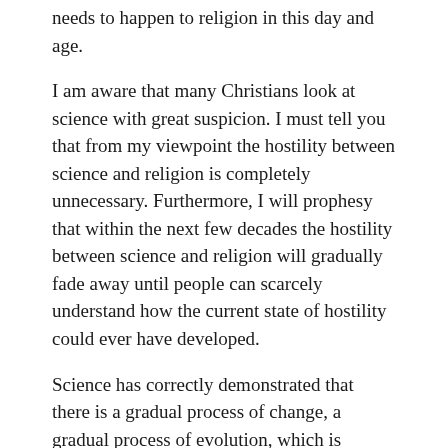needs to happen to religion in this day and age.
I am aware that many Christians look at science with great suspicion. I must tell you that from my viewpoint the hostility between science and religion is completely unnecessary. Furthermore, I will prophesy that within the next few decades the hostility between science and religion will gradually fade away until people can scarcely understand how the current state of hostility could ever have developed.
Science has correctly demonstrated that there is a gradual process of change, a gradual process of evolution, which is constantly occurring on planet earth. However, the current scientific understanding of evolution is incomplete, because it is based on certain incorrect assumptions. I will not go into further details here, because I desire to focus